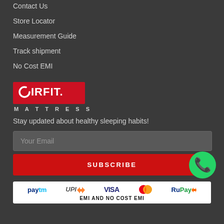Contact Us
Store Locator
Measurement Guide
Track shipment
No Cost EMI
[Figure (logo): Coirfit Mattress logo: red rectangle with COIRFIT in white bold text, MATTRESS in spaced white letters below]
Stay updated about healthy sleeping habits!
Your Email
SUBSCRIBE
[Figure (infographic): Payment methods banner: Paytm, UPI, VISA, Mastercard, RuPay logos with text EMI AND NO COST EMI]